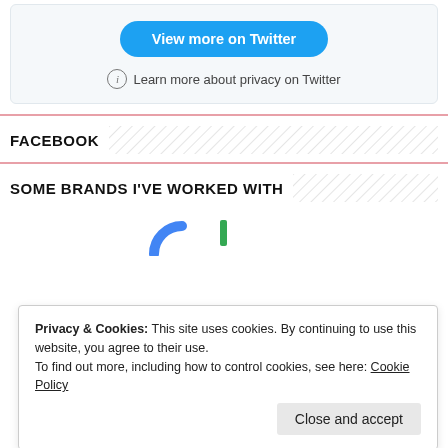[Figure (screenshot): Twitter embed card with 'View more on Twitter' blue button and 'Learn more about privacy on Twitter' link with info icon, on light grey background]
FACEBOOK
SOME BRANDS I'VE WORKED WITH
[Figure (screenshot): Partial view of Google logo (blue arc and green vertical bar visible at top)]
Privacy & Cookies: This site uses cookies. By continuing to use this website, you agree to their use.
To find out more, including how to control cookies, see here: Cookie Policy
[Figure (screenshot): Bottom logo bar showing partial logos: red arc (Toyota?), KIA, Lea30 green logo, and partial circle logo]